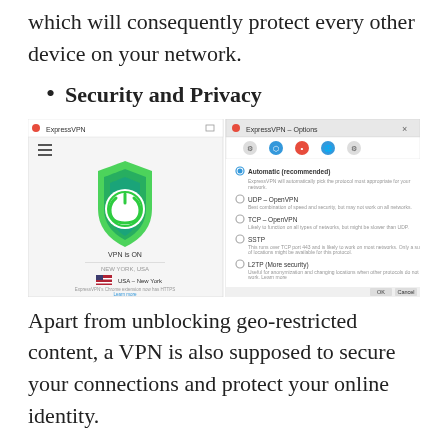which will consequently protect every other device on your network.
Security and Privacy
[Figure (screenshot): ExpressVPN application screenshot showing the main VPN interface with a green shield and power button (VPN is ON, USA - New York location), alongside the ExpressVPN Options dialog showing protocol settings including Automatic, UDP, TCP, L2TP, and PPTP options.]
Apart from unblocking geo-restricted content, a VPN is also supposed to secure your connections and protect your online identity.
Express VPN is compatible with OpenVPN, a trusted and...